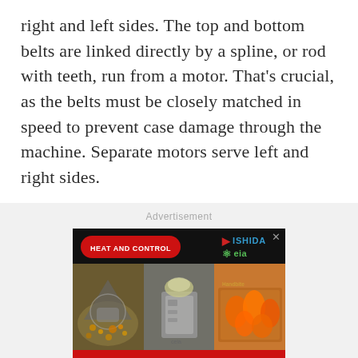right and left sides. The top and bottom belts are linked directly by a spline, or rod with teeth, run from a motor. That's crucial, as the belts must be closely matched in speed to prevent case damage through the machine. Separate motors serve left and right sides.
Advertisement
[Figure (photo): Advertisement banner for Heat and Control / Ishida / Ceia showing food processing equipment (weigher, filler, packager) with text 'FULLY INTEGRATED SOLUTIONS FOR FAST AND ACCURATE WEIGHING, FILLING, PACKAGING' and a 'LEARN MORE' call to action button.]